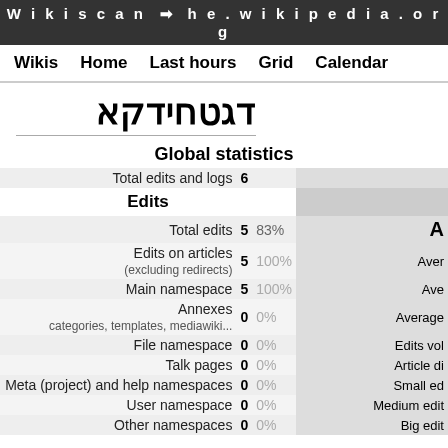Wikiscan → he.wikipedia.org
Wikis  Home  Last hours  Grid  Calendar
דגטחידקא
Global statistics
| Label | Value | % | Right |
| --- | --- | --- | --- |
| Total edits and logs | 6 |  |  |
| Edits |  |  |  |
| Total edits | 5 | 83% |  |
| Edits on articles (excluding redirects) | 5 | 100% | Aver |
| Main namespace | 5 | 100% | Ave |
| Annexes categories, templates, mediawiki... | 0 | 0% | Average |
| File namespace | 0 | 0% | Edits vol |
| Talk pages | 0 | 0% | Article di |
| Meta (project) and help namespaces | 0 | 0% | Small ed |
| User namespace | 0 | 0% | Medium edit |
| Other namespaces | 0 | 0% | Big edit |